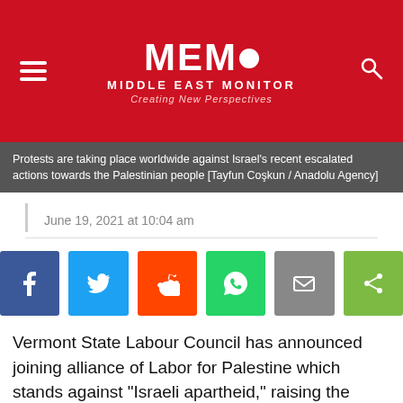[Figure (logo): MEMO Middle East Monitor logo with hamburger menu and search icon on red background]
Protests are taking place worldwide against Israel’s recent escalated actions towards the Palestinian people [Tayfun Coşkun / Anadolu Agency]
June 19, 2021 at 10:04 am
[Figure (infographic): Social share buttons: Facebook, Twitter, Reddit, WhatsApp, Email, Share]
Vermont State Labour Council has announced joining alliance of Labor for Palestine which stands against "Israeli apartheid," raising the number of American labour bodies which joined this alliance to 15.